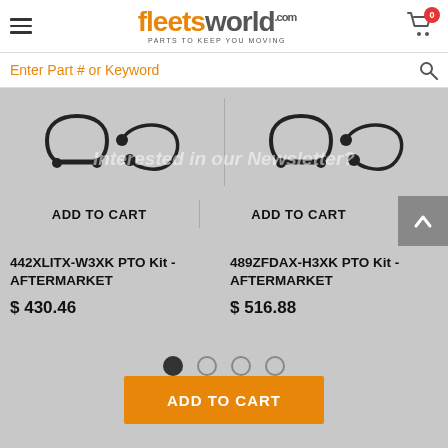fleetsworld.com — PARTS TO KEEP YOU MOVING
Enter Part # or Keyword
[Figure (photo): Two PTO kit parts shown side by side — curved gasket-like black rubber components]
Interested in our Newsletter?
ADD TO CART (left product)
ADD TO CART (right product)
442XLITX-W3XK PTO Kit - AFTERMARKET
$ 430.46
489ZFDAX-H3XK PTO Kit - AFTERMARKET
$ 516.88
ADD TO CART